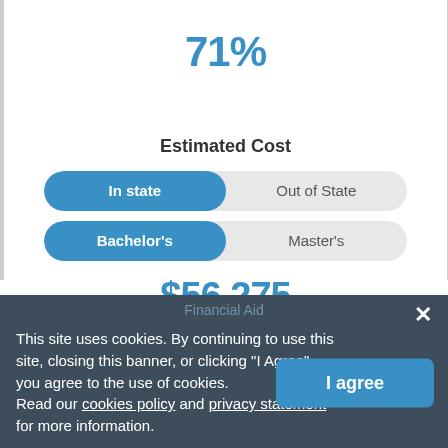71%
Estimated Cost
In state | Out of State
Bachelor's | Master's
$56,275
Financial Aid
Students
Overview
This site uses cookies. By continuing to use this site, closing this banner, or clicking "I Agree", you agree to the use of cookies.
Read our cookies policy and privacy statement for more information.